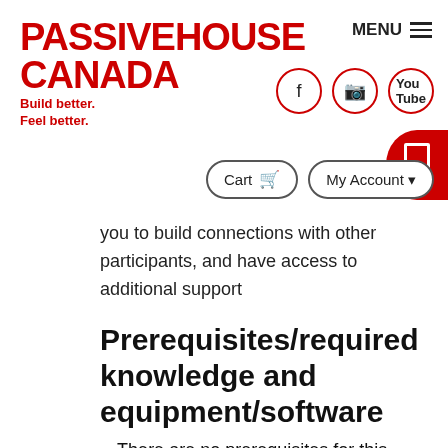[Figure (logo): Passive House Canada logo with tagline 'Build better. Feel better.' in red]
you to build connections with other participants, and have access to additional support
Prerequisites/required knowledge and equipment/software
There are no prerequisites for this